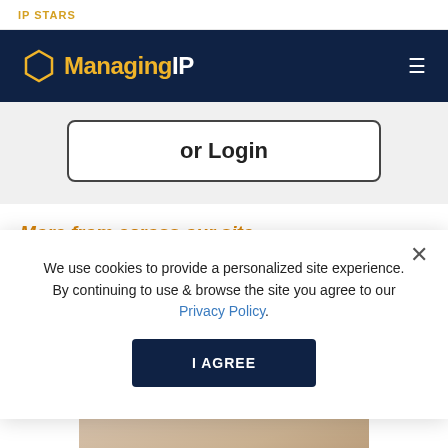IP STARS
Managing IP
or Login
More from across our site
We use cookies to provide a personalized site experience. By continuing to use & browse the site you agree to our Privacy Policy.
I AGREE